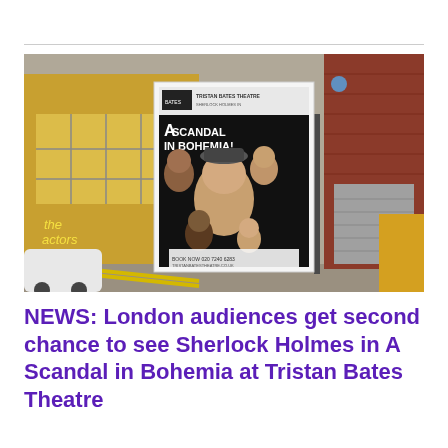[Figure (photo): Street-level photo of the Actors Centre building in London with a promotional poster for 'A Scandal in Bohemia!' show mounted in the foreground. The poster shows a group of actors and bold white text on black background reading 'A SCANDAL IN BOHEMIA!']
NEWS: London audiences get second chance to see Sherlock Holmes in A Scandal in Bohemia at Tristan Bates Theatre